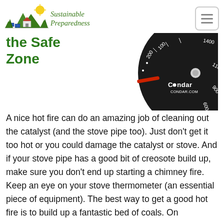Sustainable Preparedness
the Safe Zone
[Figure (photo): Close-up of a Condar stove thermometer dial showing temperature markings including 200, 100, 900, and 1400, with Condar.com branding on a black circular face.]
A nice hot fire can do an amazing job of cleaning out the catalyst (and the stove pipe too).  Just don't get it too hot or you could damage the catalyst or stove.  And if your stove pipe has a good bit of creosote build up, make sure you don't end up starting a chimney fire.  Keep an eye on your stove thermometer (an essential piece of equipment).  The best way to get a good hot fire is to build up a fantastic bed of coals.  On